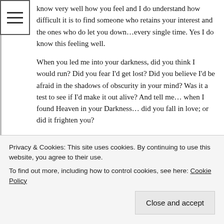know very well how you feel and I do understand how difficult it is to find someone who retains your interest and the ones who do let you down…every single time. Yes I do know this feeling well.
When you led me into your darkness, did you think I would run? Did you fear I'd get lost? Did you believe I'd be afraid in the shadows of obscurity in your mind? Was it a test to see if I'd make it out alive? And tell me… when I found Heaven in your Darkness… did you fall in love; or did it frighten you?
I survived the darkness, but they failed. I am let down. So I sit in the darkness alone. I do know how you feel.
Privacy & Cookies: This site uses cookies. By continuing to use this website, you agree to their use. To find out more, including how to control cookies, see here: Cookie Policy